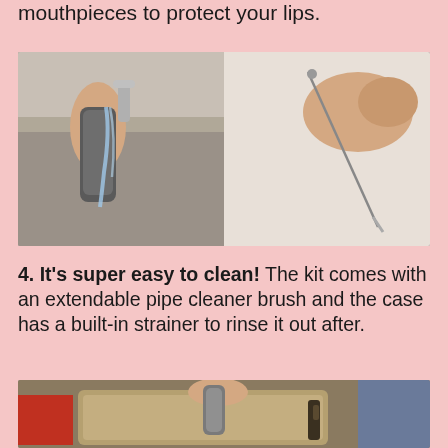mouthpieces to protect your lips.
[Figure (photo): Two-panel photo: left side shows hands rinsing a metal straw/case under running water at a sink; right side shows a hand holding a thin pipe cleaner brush against a light background.]
4. It's super easy to clean! The kit comes with an extendable pipe cleaner brush and the case has a built-in strainer to rinse it out after.
[Figure (photo): Photo showing a person placing or retrieving a metal straw kit into/from a canvas messenger bag, with a red item and indoor background visible.]